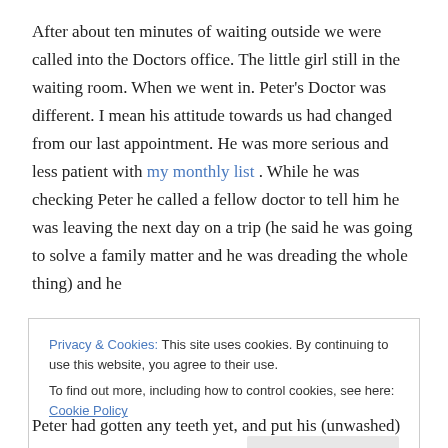After about ten minutes of waiting outside we were called into the Doctors office. The little girl still in the waiting room. When we went in. Peter's Doctor was different. I mean his attitude towards us had changed from our last appointment. He was more serious and less patient with my monthly list . While he was checking Peter he called a fellow doctor to tell him he was leaving the next day on a trip (he said he was going to solve a family matter and he was dreading the whole thing) and he
Privacy & Cookies: This site uses cookies. By continuing to use this website, you agree to their use.
To find out more, including how to control cookies, see here: Cookie Policy
Peter had gotten any teeth yet, and put his (unwashed)